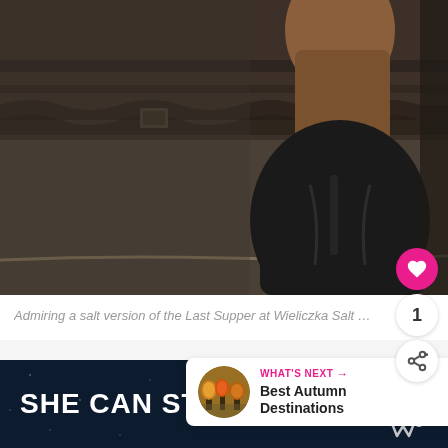[Figure (photo): Person with brown hair viewed from behind, wearing a black jacket, standing in front of an ornate stone wall with carved relief decorations, likely inside the Wieliczka Salt Mine]
Admiring a salt version of the Last Supper at Wieliczka Salt Mine
WHAT'S NEXT → Best Autumn Destinations
SHE CAN STEM